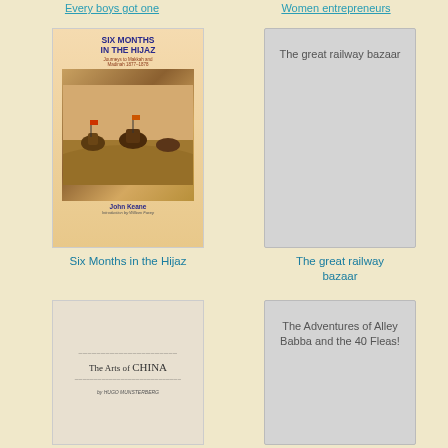Every boys got one
Women entrepreneurs
[Figure (illustration): Book cover of 'Six Months in the Hijaz: Journeys to Makkah and Madinah 1877-1878' by John Keane, with introduction by William Facey. Shows figures on camels in a desert scene.]
[Figure (illustration): Placeholder book cover for 'The great railway bazaar' with gray background.]
Six Months in the Hijaz
The great railway bazaar
[Figure (illustration): Book cover of 'The Arts of China' by Hugo Munsterberg, plain light cover with text.]
[Figure (illustration): Placeholder book cover for 'The Adventures of Alley Babba and the 40 Fleas!' with gray background.]